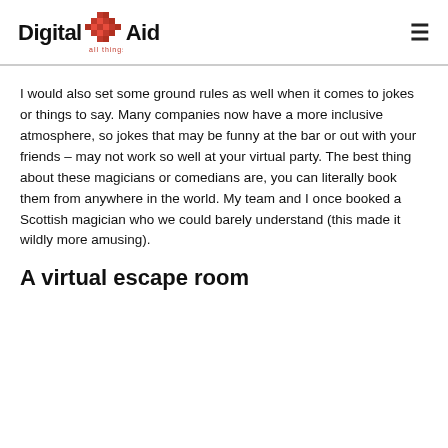Digital Aid — all things digital
I would also set some ground rules as well when it comes to jokes or things to say. Many companies now have a more inclusive atmosphere, so jokes that may be funny at the bar or out with your friends – may not work so well at your virtual party. The best thing about these magicians or comedians are, you can literally book them from anywhere in the world. My team and I once booked a Scottish magician who we could barely understand (this made it wildly more amusing).
A virtual escape room